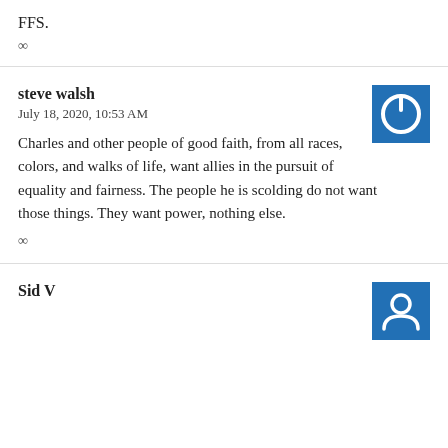FFS.
∞
steve walsh
July 18, 2020, 10:53 AM
[Figure (logo): Blue square avatar icon with white power button symbol]
Charles and other people of good faith, from all races, colors, and walks of life, want allies in the pursuit of equality and fairness. The people he is scolding do not want those things. They want power, nothing else.
∞
Sid V
[Figure (logo): Blue square avatar icon with white person/profile symbol]